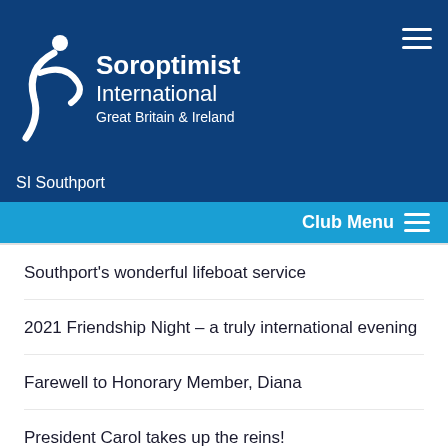[Figure (logo): Soroptimist International Great Britain & Ireland logo — white figure/swoosh on dark blue background with organization name]
SI Southport
Club Menu
Southport's wonderful lifeboat service
2021 Friendship Night – a truly international evening
Farewell to Honorary Member, Diana
President Carol takes up the reins!
Blister Pack Collections